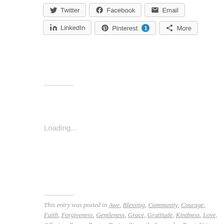[Figure (screenshot): Social share buttons: Twitter, Facebook, Email, LinkedIn, Pinterest (with badge 1), More]
Loading...
This entry was posted in Awe, Blessing, Community, Courage, Faith, Forgiveness, Gentleness, Grace, Gratitude, Kindness, Love, Offering, Peace, Poetry, Praise, Strength, Surrender, Trust, Voice and tagged consider the Lord's acts, faithful love, forgive, gain a heart of wisdom, gain wisdom, gained, give Him glory, glorified, grow in wisdom, He pours out His love, His goodness and kindness, how to love, instructs us, invest our hearts, lead, learn, learn of His ways, love, love likewise, love well, number our days, observe, ongoing acts of love, pay attention, psalm 107, recognize, reflect, remember, seek the Lord, show us, take notice, teach, understand, understand the Lord's faithful love, whoever is